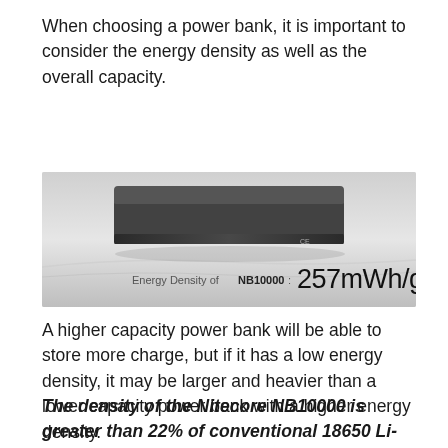When choosing a power bank, it is important to consider the energy density as well as the overall capacity.
[Figure (photo): Product image of the Nitecore NB10000 power bank with carbon fiber texture on a grey gradient background. Below the device is the text: Energy Density of NB10000: 257mWh/g]
A higher capacity power bank will be able to store more charge, but if it has a low energy density, it may be larger and heavier than a lower capacity power bank with a higher energy density.
The density of the Nitecore NB10000 is greater than 22% of conventional 18650 Li-ion